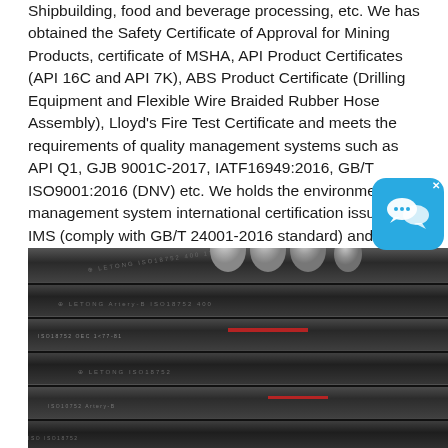Shipbuilding, food and beverage processing, etc. We has obtained the Safety Certificate of Approval for Mining Products, certificate of MSHA, API Product Certificates (API 16C and API 7K), ABS Product Certificate (Drilling Equipment and Flexible Wire Braided Rubber Hose Assembly), Lloyd's Fire Test Certificate and meets the requirements of quality management systems such as API Q1, GJB 9001C-2017, IATF16949:2016, GB/T ISO9001:2016 (DNV) etc. We holds the environment management system international certification issued by IMS (comply with GB/T 24001-2016 standard) and Laboratory Accreditation Certificate issued by CNAS.
[Figure (photo): Close-up photograph of dark grey industrial rubber hoses (Letong brand, marked with ISO18752, Artery-B series) with metallic fittings at the top, arranged in parallel bundles.]